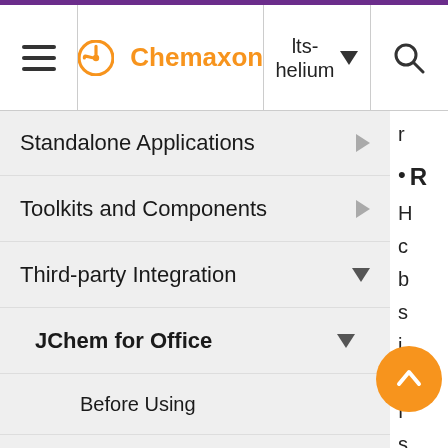Chemaxon — lts-helium
Standalone Applications
Toolkits and Components
Third-party Integration
JChem for Office
Before Using
Supported Versions
Installation
Administration
Diagnostic Tool
r
R
H
c
b
s
i
w
f
s
b
t
r